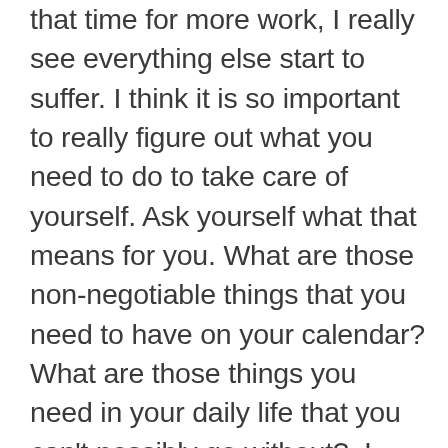that time for more work, I really see everything else start to suffer. I think it is so important to really figure out what you need to do to take care of yourself. Ask yourself what that means for you. What are those non-negotiable things that you need to have on your calendar? What are those things you need in your daily life that you can't possibly go without?  I want you to get really intentional about making sure that those become established habits for you this year. That is how you're going to continue to be able to operate at the highest level and really be able to be the CEO that your business needs, and to be